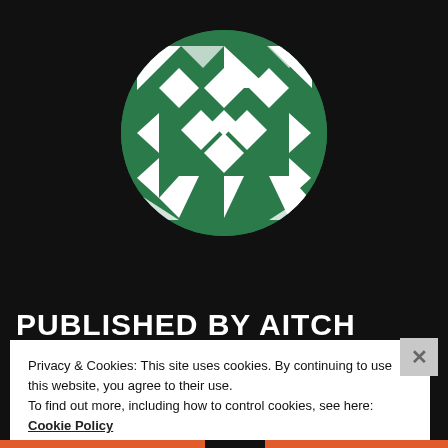[Figure (logo): Circular logo with green and white geometric/diamond pattern on black background]
PUBLISHED BY AITCH
View all posts by Aitch
Privacy & Cookies: This site uses cookies. By continuing to use this website, you agree to their use.
To find out more, including how to control cookies, see here: Cookie Policy
Close and accept